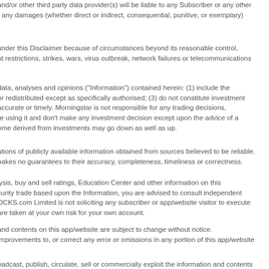and/or other third party data provider(s) will be liable to any Subscriber or any other for any damages (whether direct or indirect, consequential, punitive, or exemplary)
under this Disclaimer because of circumstances beyond its reasonable control, nt restrictions, strikes, wars, virus outbreak, network failures or telecommunications
data, analyses and opinions ("Information") contained herein: (1) include the or redistributed except as specifically authorised; (3) do not constitute investment accurate or timely. Morningstar is not responsible for any trading decisions, re using it and don't make any investment decision except upon the advice of a ome derived from investments may go down as well as up.
ations of publicly available information obtained from sources believed to be reliable. nakes no guarantees to their accuracy, completeness, timeliness or correctness.
lysis, buy and sell ratings, Education Center and other information on this curity trade based upon the Information, you are advised to consult independent OCKS.com Limited is not soliciting any subscriber or app/website visitor to execute are taken at your own risk for your own account.
and contents on this app/website are subject to change without notice. improvements to, or correct any error or omissions in any portion of this app/website
oadcast, publish, circulate, sell or commercially exploit the information and contents
ference purposes at your own discretion. AASTOCKS.com Limited cannot and does ite will be profitable. AASTOCKS.com Limited cannot guarantee, and the ormance.